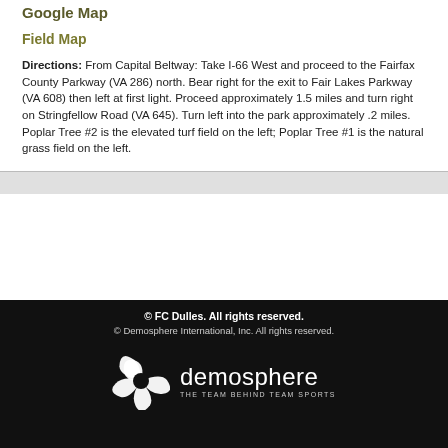Google Map
Field Map
Directions: From Capital Beltway: Take I-66 West and proceed to the Fairfax County Parkway (VA 286) north. Bear right for the exit to Fair Lakes Parkway (VA 608) then left at first light. Proceed approximately 1.5 miles and turn right on Stringfellow Road (VA 645). Turn left into the park approximately .2 miles. Poplar Tree #2 is the elevated turf field on the left; Poplar Tree #1 is the natural grass field on the left.
© FC Dulles. All rights reserved.
© Demosphere International, Inc. All rights reserved.
[Figure (logo): Demosphere logo — spiral shutter icon in white, with 'demosphere' in large white text and 'THE TEAM BEHIND TEAM SPORTS' in small caps below]